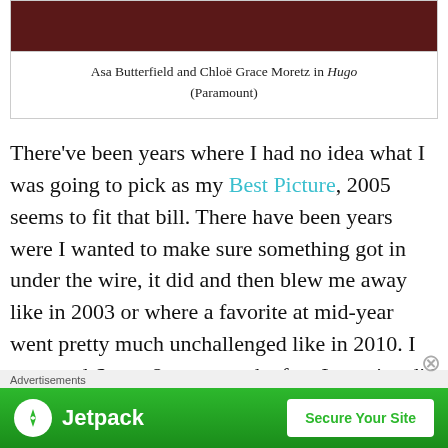[Figure (photo): Dark reddish/maroon colored film still cropped at top, partial view of Asa Butterfield and Chloë Grace Moretz in Hugo]
Asa Butterfield and Chloë Grace Moretz in Hugo (Paramount)
There've been years where I had no idea what I was going to pick as my Best Picture, 2005 seems to fit that bill. There have been years were I wanted to make sure something got in under the wire, it did and then blew me away like in 2003 or where a favorite at mid-year went pretty much unchallenged like in 2010. I expected Super 8 to repeat the feat Inception did of being a summer favorite and although
Advertisements
[Figure (other): Jetpack advertisement banner with logo and 'Secure Your Site' button]